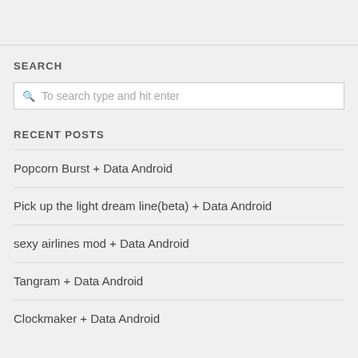SEARCH
To search type and hit enter
RECENT POSTS
Popcorn Burst + Data Android
Pick up the light dream line(beta) + Data Android
sexy airlines mod + Data Android
Tangram + Data Android
Clockmaker + Data Android